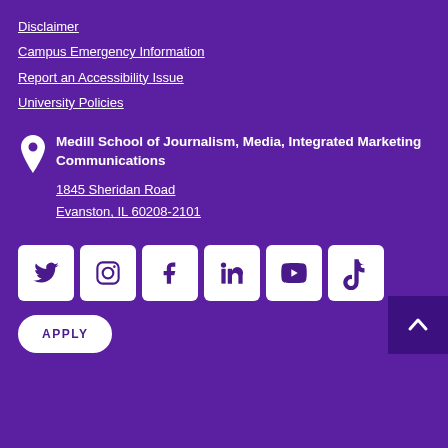Disclaimer
Campus Emergency Information
Report an Accessibility Issue
University Policies
Medill School of Journalism, Media, Integrated Marketing Communications
1845 Sheridan Road
Evanston, IL 60208-2101
[Figure (infographic): Social media icons in white boxes: Twitter, Instagram, Facebook, LinkedIn, YouTube, TikTok]
APPLY